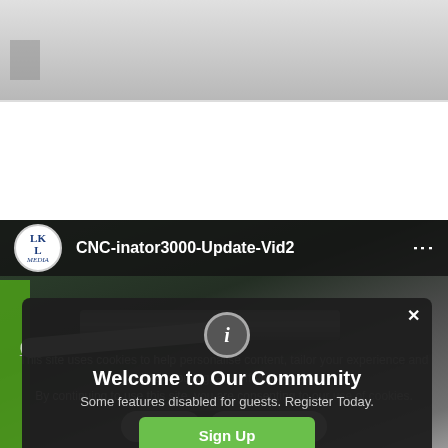[Figure (screenshot): Top portion of a webpage showing a video platform with a CNC machine video thumbnail. Top image shows a gray gradient background.]
CNC-inator3000-Update-Vid2
[Figure (screenshot): Modal popup dialog with info icon, 'Welcome to Our Community' title, subtitle, and Sign Up button]
Welcome to Our Community
Some features disabled for guests. Register Today.
Sign Up
This site uses cookies to help personalise content, tailor your experience and to keep you logged in if you register. By continuing to use this site, you are consenting to our use of cookies.
Accept
Learn More...